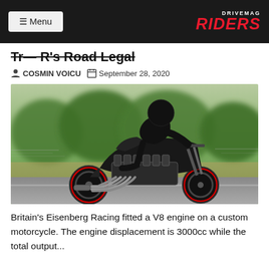≡ Menu | DRIVEMAG RIDERS
Tr— R's Road Legal
COSMIN VOICU  September 28, 2020
[Figure (photo): A rider in black gear and helmet crouching low over a custom black motorcycle with a large V8 engine and multiple exhaust pipes, riding on a road with blurred green trees in the background.]
Britain's Eisenberg Racing fitted a V8 engine on a custom motorcycle. The engine displacement is 3000cc while the total output...